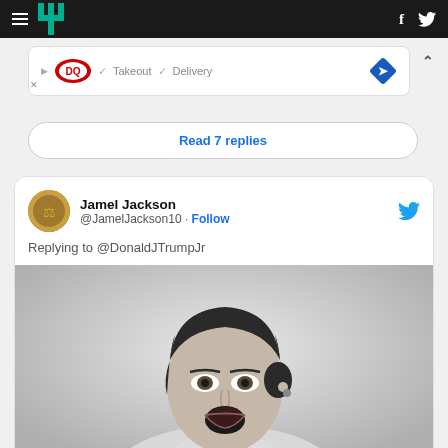[Figure (screenshot): HuffPost website navigation bar with hamburger menu, HuffPost logo (green), and Facebook/Twitter icons on dark background]
[Figure (screenshot): Dairy Queen advertisement banner showing DQ logo, checkmarks for Takeout and Delivery, and a blue direction arrow diamond icon]
Read 7 replies
[Figure (screenshot): Tweet by Jamel Jackson (@JamelJackson10) replying to @DonaldJTrumpJr, with a black and white vintage photo of a woman with mouth open in shock/surprise expression, reading something]
Replying to @DonaldJTrumpJr